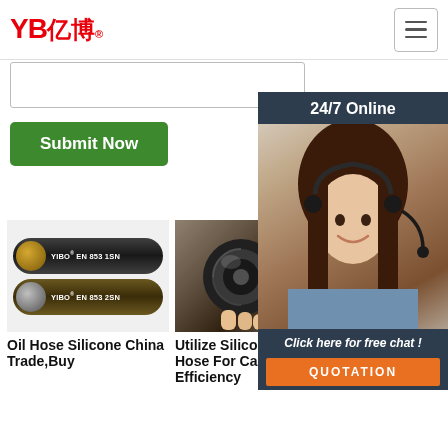[Figure (logo): YB亿博 logo in red]
[Figure (screenshot): Hamburger menu icon button]
[Figure (screenshot): Search input box]
[Figure (screenshot): 24/7 Online chat widget with customer service representative photo and QUOTATION button]
[Figure (screenshot): Submit Now green button]
[Figure (photo): Two black hydraulic hoses labeled YIBO EN 853 1SN and YIBO EN 853 2SN]
Oil Hose Silicone China Trade,Buy
[Figure (photo): Close-up of a black rubber hose end held in hand]
Utilize Silicon Oil Hose For Car Efficiency
[Figure (photo): Partial view of a hose with TOP badge overlay]
Utilize NBR Rubber Hose For Car